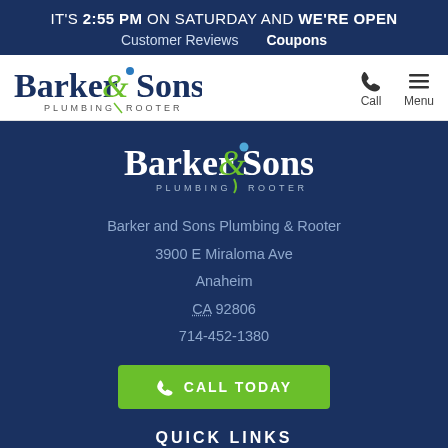IT'S 2:55 PM ON SATURDAY AND WE'RE OPEN
Customer Reviews   Coupons
[Figure (logo): Barker & Sons Plumbing Rooter logo with green ampersand/swirl and blue water drop icon]
[Figure (logo): Barker & Sons Plumbing Rooter white logo on dark blue background in footer]
Barker and Sons Plumbing & Rooter
3900 E Miraloma Ave
Anaheim
CA 92806
714-452-1380
CALL TODAY
QUICK LINKS
Why Us
Plumbing Solutions